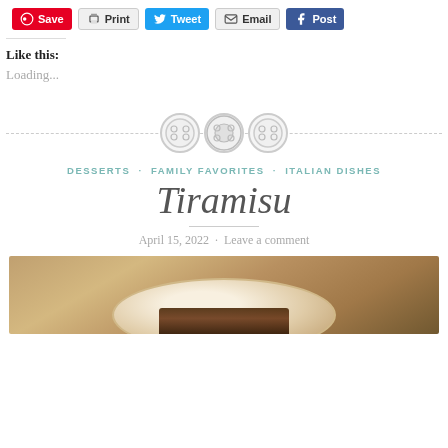[Figure (screenshot): Social share buttons row: Save (Pinterest, red), Print (gray), Tweet (Twitter blue), Email (gray), Post (Facebook dark blue)]
Like this:
Loading...
[Figure (other): Decorative dashed horizontal divider with three circle/button icons in the center]
DESSERTS · FAMILY FAVORITES · ITALIAN DISHES
Tiramisu
April 15, 2022 · Leave a comment
[Figure (photo): Photo of tiramisu on a white plate on a wooden/marble surface, partially cropped at bottom of page]